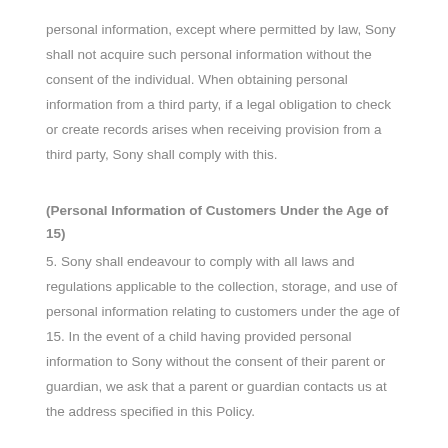personal information, except where permitted by law, Sony shall not acquire such personal information without the consent of the individual. When obtaining personal information from a third party, if a legal obligation to check or create records arises when receiving provision from a third party, Sony shall comply with this.
(Personal Information of Customers Under the Age of 15)
5. Sony shall endeavour to comply with all laws and regulations applicable to the collection, storage, and use of personal information relating to customers under the age of 15. In the event of a child having provided personal information to Sony without the consent of their parent or guardian, we ask that a parent or guardian contacts us at the address specified in this Policy.
(Security Control Action)
6. Sony shall endeavour to keep the content of personal information accurate, complete, and up to date within the scope of the purpose of